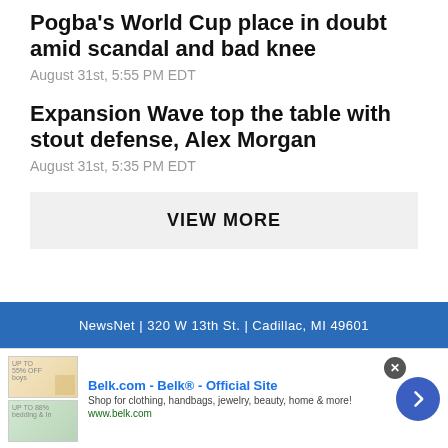Pogba's World Cup place in doubt amid scandal and bad knee
August 31st, 5:55 PM EDT
Expansion Wave top the table with stout defense, Alex Morgan
August 31st, 5:35 PM EDT
VIEW MORE
NewsNet | 320 W 13th St. | Cadillac, MI 49601
[Figure (screenshot): Advertisement for Belk.com - Belk Official Site. Shows clothing/bedding images on left, ad title 'Belk.com - Belk® - Official Site', description 'Shop for clothing, handbags, jewelry, beauty, home & more!', URL 'www.belk.com', close button and navigation arrow on right.]